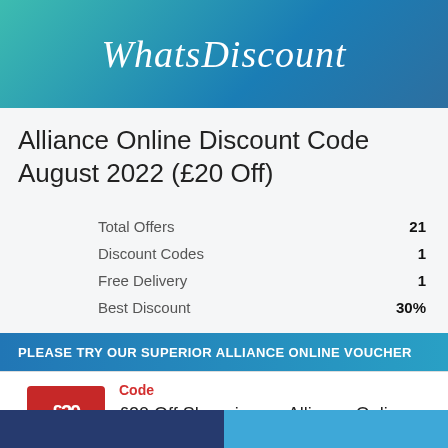WhatsDiscount
Alliance Online Discount Code August 2022 (£20 Off)
|  |  |
| --- | --- |
| Total Offers | 21 |
| Discount Codes | 1 |
| Free Delivery | 1 |
| Best Discount | 30% |
PLEASE TRY OUR SUPERIOR ALLIANCE ONLINE VOUCHER
Code
£20 Off Shopping on Alliance Online Online Redeem Code
£20 saved for you, apply the voucher code when